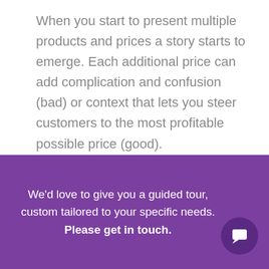When you start to present multiple products and prices a story starts to emerge. Each additional price can add complication and confusion (bad) or context that lets you steer customers to the most profitable possible price (good).
2.01 Avoiding The Paradox of Choice
2.02 Pricing/Presenting Multiple Options...
We'd love to give you a guided tour, custom tailored to your specific needs. Please get in touch.